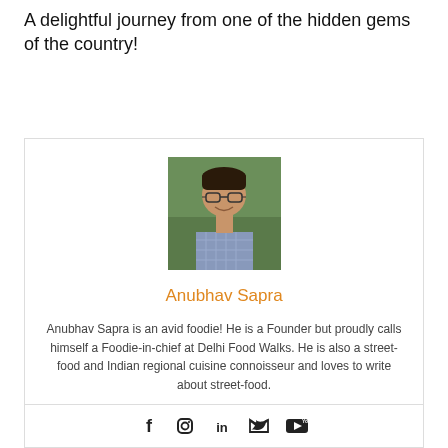A delightful journey from one of the hidden gems of the country!
[Figure (photo): Portrait photo of Anubhav Sapra, a man with glasses smiling, wearing a checkered shirt, with greenery in the background]
Anubhav Sapra
Anubhav Sapra is an avid foodie! He is a Founder but proudly calls himself a Foodie-in-chief at Delhi Food Walks. He is also a street-food and Indian regional cuisine connoisseur and loves to write about street-food.
[Figure (infographic): Social media icons: Facebook, Instagram, LinkedIn, Twitter, YouTube]